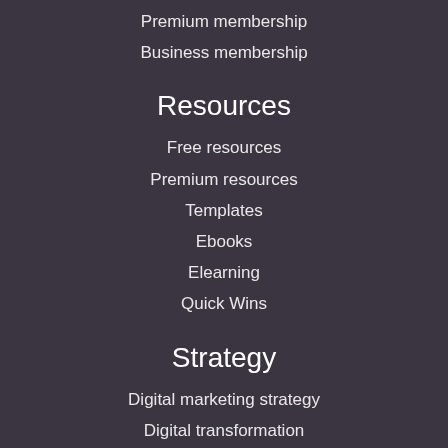Premium membership
Business membership
Resources
Free resources
Premium resources
Templates
Ebooks
Elearning
Quick Wins
Strategy
Digital marketing strategy
Digital transformation
Lifecycle marketing
Agency growth
Managing digital teams
RACE Planning framework
Hubs
Campaign planning